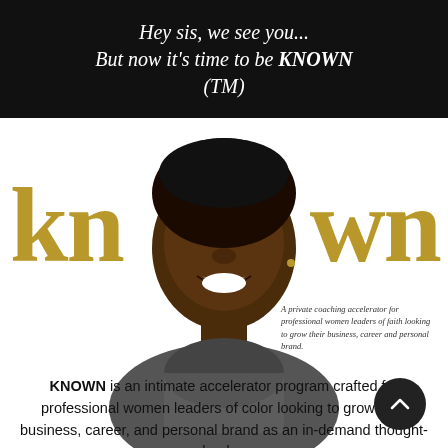Hey sis, we see you... But now it's time to be KNOWN (TM)
[Figure (photo): Smiling Black woman with short hair wearing a checkered cowl-neck top, with large gold 'kn' and 'wn' letters flanking her face forming the word KNOWN]
A private coaching accelerator for professional women leaders of faith looking to grow their business, career and personal brand.
KNOWN is an intimate accelerator program crafted for professional women leaders of color looking to grow your business, career, and personal brand as an in-demand thought-leader.
If you feel like you need to make a bigger impact, it's time for you to go from